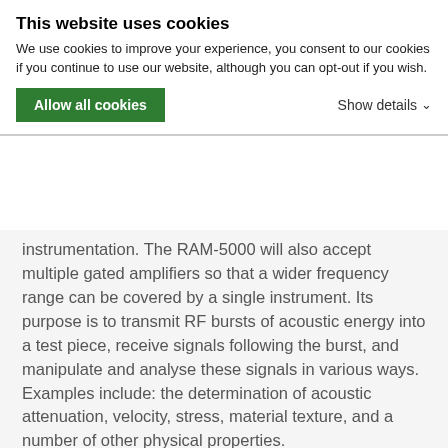This website uses cookies
We use cookies to improve your experience, you consent to our cookies if you continue to use our website, although you can opt-out if you wish.
Allow all cookies
Show details
instrumentation. The RAM-5000 will also accept multiple gated amplifiers so that a wider frequency range can be covered by a single instrument. Its purpose is to transmit RF bursts of acoustic energy into a test piece, receive signals following the burst, and manipulate and analyse these signals in various ways. Examples include: the determination of acoustic attenuation, velocity, stress, material texture, and a number of other physical properties.
Gated-amplifier, high-power outputs are obtainable over a frequency range far in excess of one decade. Typical high-power (5 kW) frequency